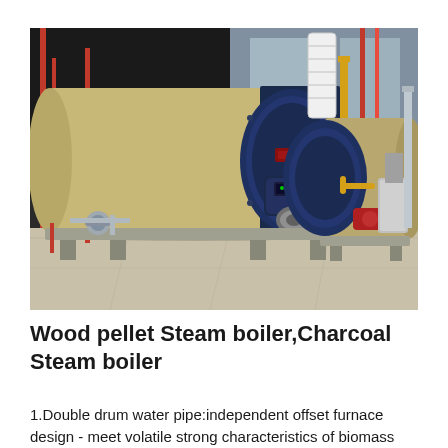[Figure (photo): Industrial steam boilers in a factory setting. Two large horizontal cylindrical boilers (tan/khaki colored) with dark blue front panels and burner assemblies. Pipes, valves, and support frames visible. The facility has concrete flooring and large windows in the background.]
Wood pellet Steam boiler,Charcoal Steam boiler
1.Double drum water pipe:independent offset furnace design - meet volatile strong characteristics of biomass